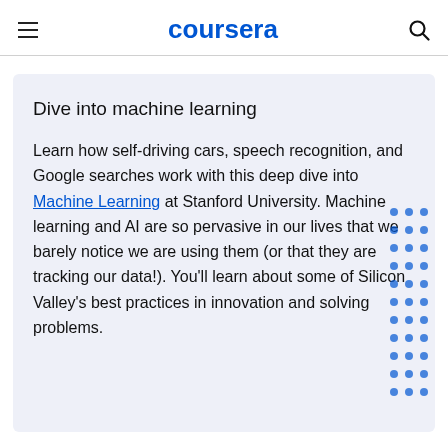coursera
Dive into machine learning
Learn how self-driving cars, speech recognition, and Google searches work with this deep dive into Machine Learning at Stanford University. Machine learning and AI are so pervasive in our lives that we barely notice we are using them (or that they are tracking our data!). You’ll learn about some of Silicon Valley’s best practices in innovation and solving problems.